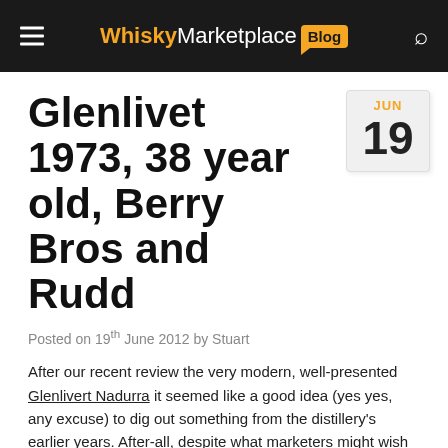WhiskyMarketplace Blog
Glenlivet 1973, 38 year old, Berry Bros and Rudd
Posted on 19th June 2012 by Stuart
After our recent review the very modern, well-presented Glenlivert Nadurra it seemed like a good idea (yes yes, any excuse) to dig out something from the distillery's earlier years. After-all, despite what marketers might wish you to believe, whisky has changed a great deal over the last 40 or so years. While 1973 was already late enough to have seen the end of Glenlivet's floor maltings (1966) and the conversion from coal to gas firing (1972), the stills remained direct fired until 1985